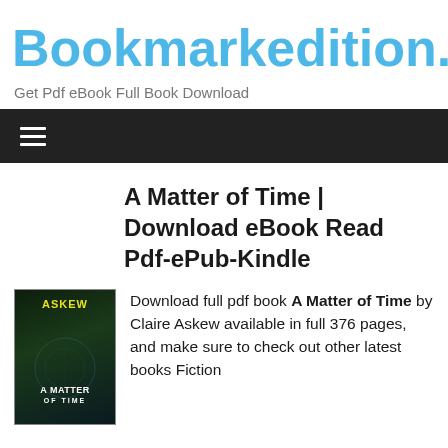Bookmarkedition.
Get Pdf eBook Full Book Download
[Figure (other): Navigation hamburger menu icon on dark background bar]
A Matter of Time | Download eBook Read Pdf-ePub-Kindle
[Figure (photo): Book cover of 'A Matter of Time' by Askew, dark green/teal background with author name in yellow and title in white text]
Download full pdf book A Matter of Time by Claire Askew available in full 376 pages, and make sure to check out other latest books Fiction